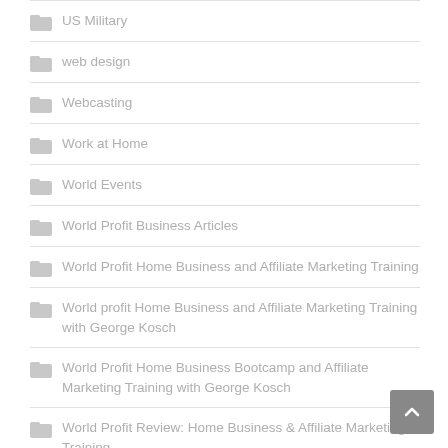US Military
web design
Webcasting
Work at Home
World Events
World Profit Business Articles
World Profit Home Business and Affiliate Marketing Training
World profit Home Business and Affiliate Marketing Training with George Kosch
World Profit Home Business Bootcamp and Affiliate Marketing Training with George Kosch
World Profit Review: Home Business & Affiliate Marketing Training